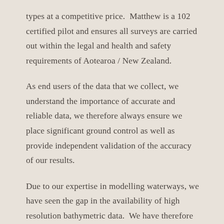types at a competitive price.  Matthew is a 102 certified pilot and ensures all surveys are carried out within the legal and health and safety requirements of Aotearoa / New Zealand.
As end users of the data that we collect, we understand the importance of accurate and reliable data, we therefore always ensure we place significant ground control as well as provide independent validation of the accuracy of our results.
Due to our expertise in modelling waterways, we have seen the gap in the availability of high resolution bathymetric data.  We have therefore invested significantly in a detailed R&D programme and developed our own proprietary